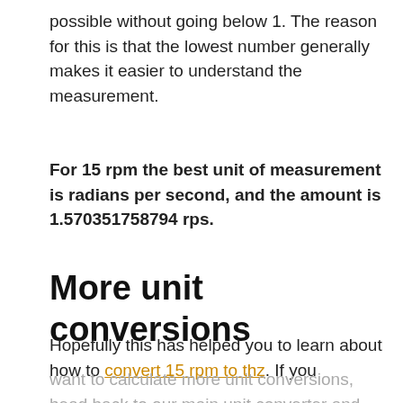possible without going below 1. The reason for this is that the lowest number generally makes it easier to understand the measurement.
For 15 rpm the best unit of measurement is radians per second, and the amount is 1.570351758794 rps.
More unit conversions
Hopefully this has helped you to learn about how to convert 15 rpm to thz. If you want to calculate more unit conversions, head back to our main unit converter and